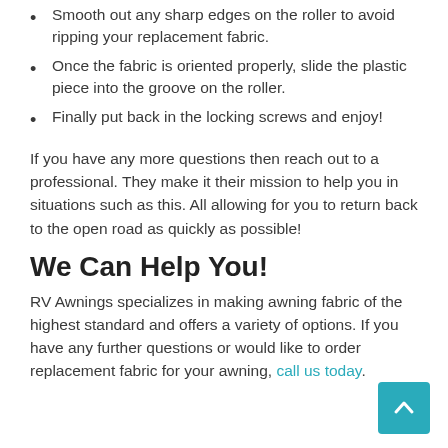Smooth out any sharp edges on the roller to avoid ripping your replacement fabric.
Once the fabric is oriented properly, slide the plastic piece into the groove on the roller.
Finally put back in the locking screws and enjoy!
If you have any more questions then reach out to a professional. They make it their mission to help you in situations such as this. All allowing for you to return back to the open road as quickly as possible!
We Can Help You!
RV Awnings specializes in making awning fabric of the highest standard and offers a variety of options. If you have any further questions or would like to order replacement fabric for your awning, call us today.